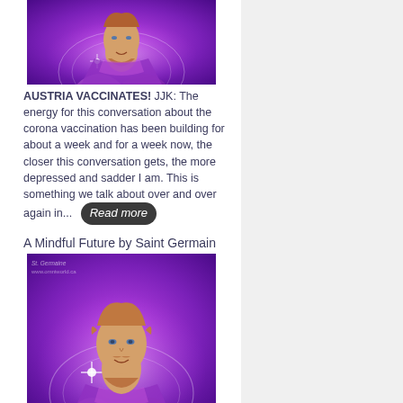[Figure (illustration): Illustration of Saint Germain — a figure with reddish-brown beard and hair in a purple robe, with light energy patterns, on a purple/violet background.]
AUSTRIA VACCINATES! JJK: The energy for this conversation about the corona vaccination has been building for about a week and for a week now, the closer this conversation gets, the more depressed and sadder I am. This is something we talk about over and over again in...
A Mindful Future by Saint Germain
[Figure (illustration): Illustration of Saint Germain — same figure with reddish-brown beard and hair in a purple robe, with light energy patterns, on a purple/violet background. Watermark: St. Germaine www.omniworld.ca]
Greetings, I am Saint Germain, and it is an honour to come forth to you